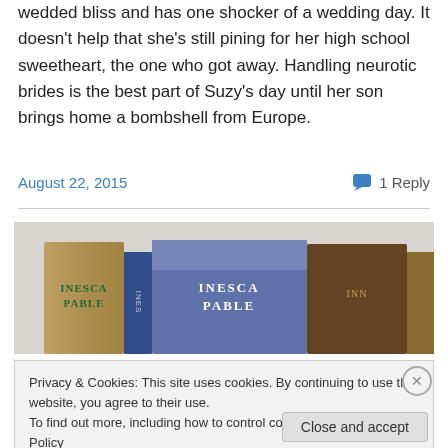wedded bliss and has one shocker of a wedding day. It doesn't help that she's still pining for her high school sweetheart, the one who got away. Handling neurotic brides is the best part of Suzy's day until her son brings home a bombshell from Europe.
August 22, 2015
1 Reply
[Figure (photo): Stack of books with spines reading 'INESCAPABLE' partially visible]
Privacy & Cookies: This site uses cookies. By continuing to use this website, you agree to their use.
To find out more, including how to control cookies, see here: Cookie Policy
Close and accept